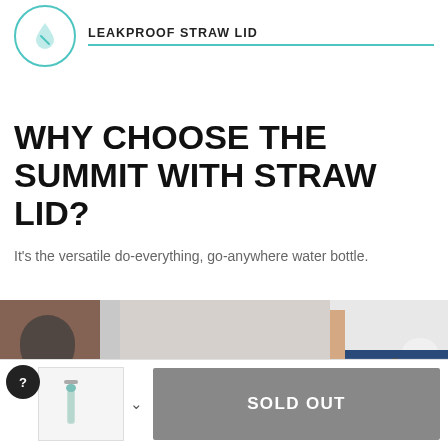[Figure (logo): Circular teal icon with a water droplet / leaf symbol inside, representing a leakproof straw lid product feature]
LEAKPROOF STRAW LID
WHY CHOOSE THE SUMMIT WITH STRAW LID?
It's the versatile do-everything, go-anywhere water bottle.
[Figure (photo): A person wearing a white t-shirt tied at the back and blue denim jeans, standing outdoors near a brick building]
[Figure (screenshot): Bottom UI bar with a help button, product thumbnail with chevron dropdown, and a dark gray Sold Out button]